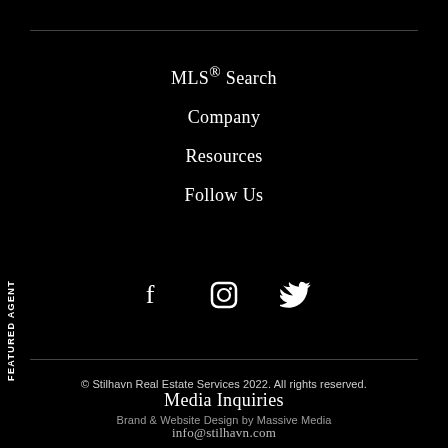MLS® Search
Company
Resources
Follow Us
[Figure (infographic): Social media icons: Facebook (f), Instagram (camera), Twitter (bird)]
Media Inquiries
info@stilhavn.com
© Stilhavn Real Estate Services 2022. All rights reserved.
Brand & Website Design by Massive Media